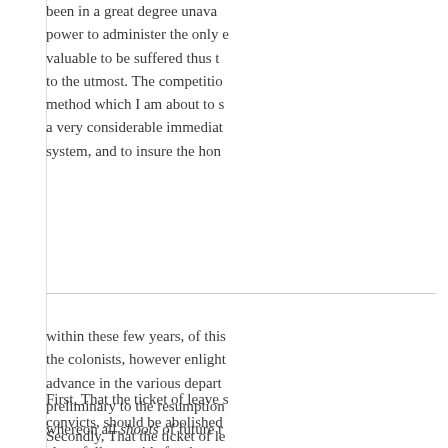been in a great degree unavailable power to administer the only e valuable to be suffered thus t to the utmost. The competitio method which I am about to s a very considerable immediat system, and to insure the hon
within these few years, of this the colonists, however enlight advance in the various depart preliminary to the resumption whereon all shoots of future r alone fully provide for the pre eventually diminishing the sca
First, That the ticket of leave s convicts, should be abolished
Secondly, That the ticket of le expence of the crown or not, s